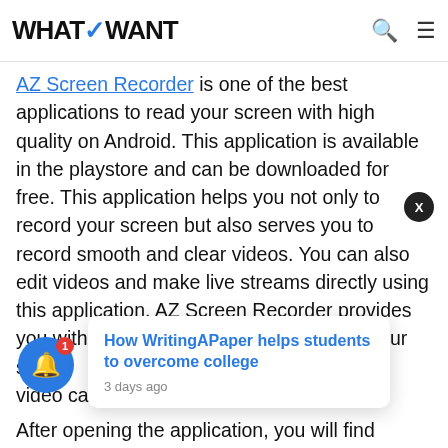WHATVWANT
AZ Screen Recorder is one of the best applications to read your screen with high quality on Android. This application is available in the playstore and can be downloaded for free. This application helps you not only to record your screen but also serves you to record smooth and clear videos. You can also edit videos and make live streams directly using this application. AZ Screen Recorder provides you with an easy and best way to record your screen, video calls,
[Figure (infographic): Notification popup card: 'How WritingAPaper helps students to overcome college' with timestamp '3 days ago'. Notification bell button with badge count 1. Close button with X.]
After opening the application, you will find